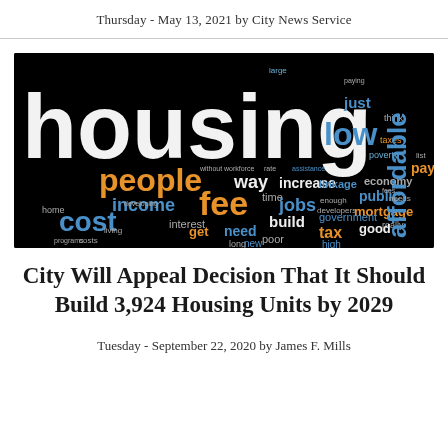Thursday - May 13, 2021 by City News Service
[Figure (illustration): Word cloud on black background featuring housing-related terms: 'housing' (large white), 'people' (orange), 'fee' (orange), 'income' (blue), 'cost' (blue), 'low' (blue), 'affordable' (blue vertical), 'way', 'increase', 'jobs', 'build', 'linkage', 'economy', 'public', 'mortgage', 'government', 'tax', 'good', 'high', 'poor', 'need', 'get', 'interest', and many others in various colors]
City Will Appeal Decision That It Should Build 3,924 Housing Units by 2029
Tuesday - September 22, 2020 by James F. Mills